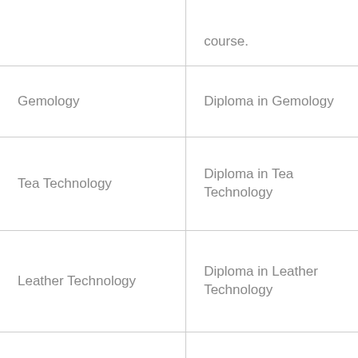| Subject | Diploma |
| --- | --- |
|  | course. |
| Gemology | Diploma in Gemology |
| Tea Technology | Diploma in Tea Technology |
| Leather Technology | Diploma in Leather Technology |
| Resin Technology | Diploma in Resin Technology |
| Plastic Technology | Diploma in Plastic Technology |
|  |  |